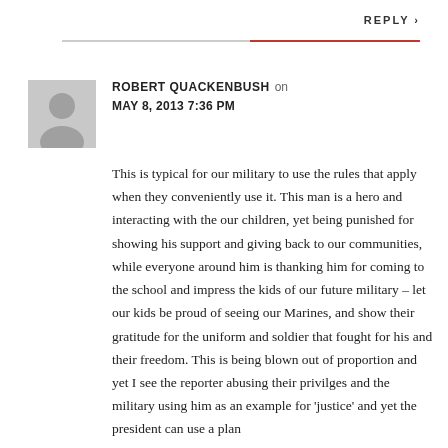REPLY
[Figure (photo): Grey avatar placeholder image of a person silhouette]
ROBERT QUACKENBUSH on MAY 8, 2013 7:36 PM
This is typical for our military to use the rules that apply when they conveniently use it. This man is a hero and interacting with the our children, yet being punished for showing his support and giving back to our communities, while everyone around him is thanking him for coming to the school and impress the kids of our future military – let our kids be proud of seeing our Marines, and show their gratitude for the uniform and soldier that fought for his and their freedom. This is being blown out of proportion and yet I see the reporter abusing their privilges and the military using him as an example for 'justice' and yet the president can use a plan